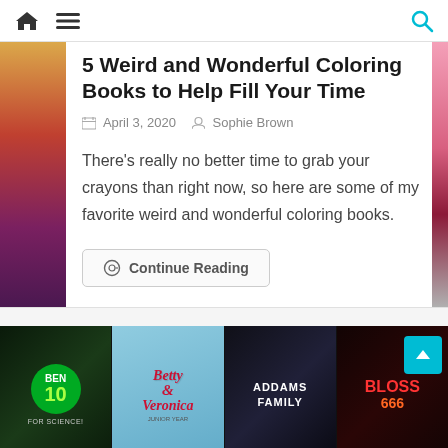Navigation bar with home icon, menu icon, and search icon
5 Weird and Wonderful Coloring Books to Help Fill Your Time
April 3, 2020   Sophie Brown
There's really no better time to grab your crayons than right now, so here are some of my favorite weird and wonderful coloring books.
⊙ Continue Reading
[Figure (screenshot): Bottom banner showing comic book covers: Ben 10 For Science!, Betty & Veronica, Addams Family, Blossom 666]